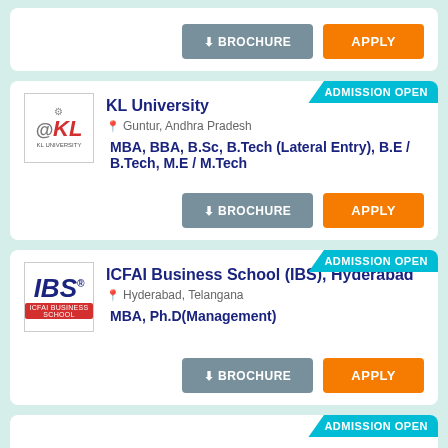[Figure (screenshot): Top card partial — BROCHURE and APPLY buttons visible at top]
[Figure (screenshot): KL University admission card with logo, location Guntur Andhra Pradesh, courses MBA BBA B.Sc B.Tech Lateral Entry B.E/B.Tech M.E/M.Tech, BROCHURE and APPLY buttons, ADMISSION OPEN badge]
[Figure (screenshot): ICFAI Business School IBS Hyderabad admission card with logo, location Hyderabad Telangana, courses MBA Ph.D(Management), BROCHURE and APPLY buttons, ADMISSION OPEN badge]
[Figure (screenshot): Partial card at bottom with ADMISSION OPEN badge starting to appear]